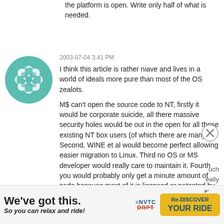the platform is open. Write only half of what is needed.
2003-07-04 3:41 PM
I think this article is rather niave and lives in a world of ideals more pure than most of the OS zealots.

M$ can't open the source code to NT, firstly it would be corporate suicide, all there massive security holes would be out in the open for all those existing NT box users (of which there are many). Second, WINE et al would become perfect allowing easier migration to Linux. Third no OS or MS developer would really care to maintain it. Fourth you would probably only get a minute amount of code because most of it is licensed or patented by other companies. Lastly after all their 'Open
[Figure (illustration): Teal/green decorative avatar icon with geometric cross/flower pattern]
much
really